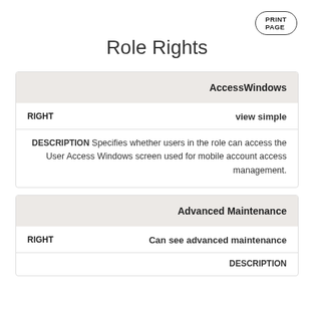PRINT PAGE
Role Rights
| AccessWindows |
| --- |
| RIGHT | view simple |
| DESCRIPTION | Specifies whether users in the role can access the User Access Windows screen used for mobile account access management. |
| Advanced Maintenance |
| --- |
| RIGHT | Can see advanced maintenance |
| DESCRIPTION |  |